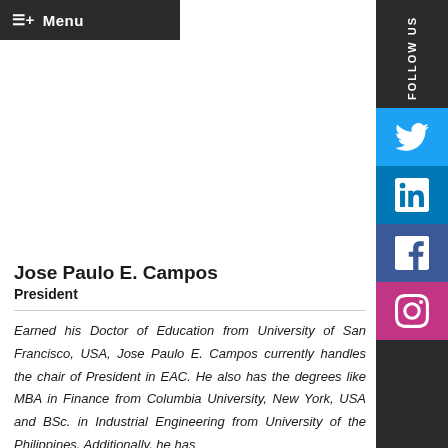≡+ Menu
[Figure (photo): Portrait photo of Jose Paulo E. Campos, a man in a white shirt against a blue background, showing head and upper body]
Jose Paulo E. Campos
President
Earned his Doctor of Education from University of San Francisco, USA, Jose Paulo E. Campos currently handles the chair of President in EAC. He also has the degrees like MBA in Finance from Columbia University, New York, USA and BSc. in Industrial Engineering from University of the Philippines. Additionally, he has